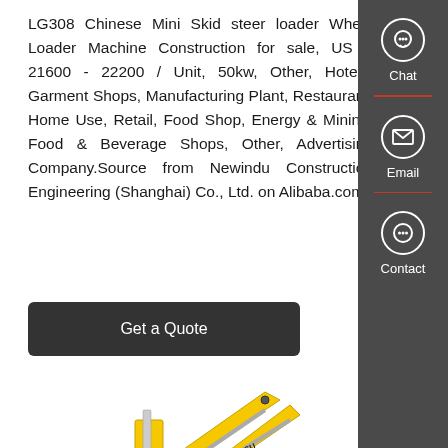LG308 Chinese Mini Skid steer loader Wheel Loader Machine Construction for sale, US $ 21600 - 22200 / Unit, 50kw, Other, Hotels, Garment Shops, Manufacturing Plant, Restaurant, Home Use, Retail, Food Shop, Energy & Mining, Food & Beverage Shops, Other, Advertising Company.Source from Newindu Construction Engineering (Shanghai) Co., Ltd. on Alibaba.com.
[Figure (screenshot): Get a Quote button - dark grey rounded rectangle with white text]
[Figure (photo): Yellow Komatsu excavator arm/boom assembly on white background]